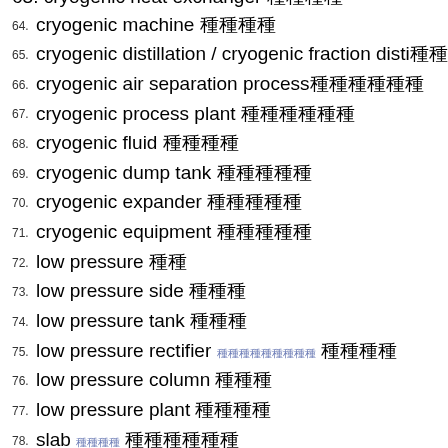63. cryogenic heat exchanger [CJK]
64. cryogenic machine [CJK]
65. cryogenic distillation / cryogenic fraction disti[CJK]
66. cryogenic air separation process[CJK]
67. cryogenic process plant [CJK]
68. cryogenic fluid [CJK]
69. cryogenic dump tank [CJK]
70. cryogenic expander [CJK]
71. cryogenic equipment [CJK]
72. low pressure [CJK]
73. low pressure side [CJK]
74. low pressure tank [CJK]
75. low pressure rectifier [CJK-small] [CJK]
76. low pressure column [CJK]
77. low pressure plant [CJK]
78. slab [CJK-small] [CJK]
79. base plate /bottom plate [CJK]